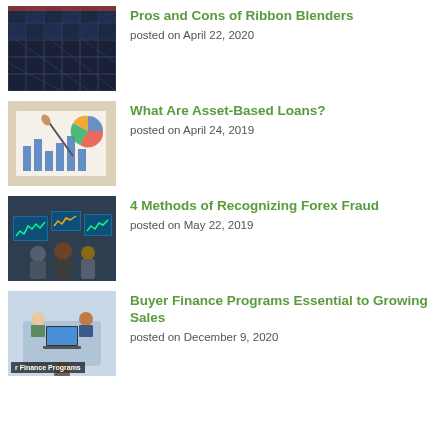[Figure (photo): Solar panels close-up photo]
Pros and Cons of Ribbon Blenders
posted on April 22, 2020
[Figure (photo): Hand writing on financial charts and graphs]
What Are Asset-Based Loans?
posted on April 24, 2019
[Figure (photo): Traders at trading floor with multiple monitors]
4 Methods of Recognizing Forex Fraud
posted on May 22, 2019
[Figure (photo): Group of people around laptop with buyer finance programs overlay text]
Buyer Finance Programs Essential to Growing Sales
posted on December 9, 2020